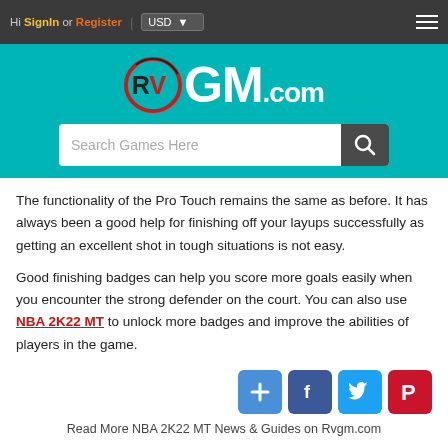Hi SignIn or Register | USD ▼
[Figure (logo): RVGM.com logo on teal background with search bar]
The functionality of the Pro Touch remains the same as before. It has always been a good help for finishing off your layups successfully as getting an excellent shot in tough situations is not easy.
Good finishing badges can help you score more goals easily when you encounter the strong defender on the court. You can also use NBA 2K22 MT to unlock more badges and improve the abilities of players in the game.
[Figure (infographic): Social sharing icons: plus, Facebook, Twitter, Pinterest]
Read More NBA 2K22 MT News & Guides on Rvgm.com
Previous: